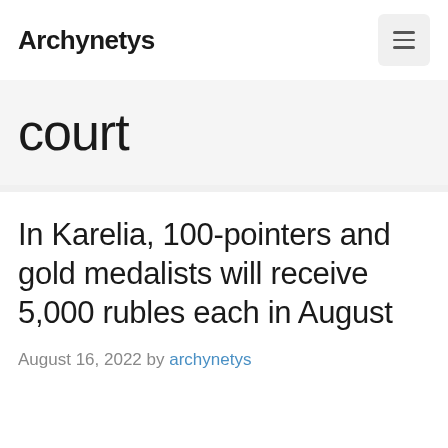Archynetys
court
In Karelia, 100-pointers and gold medalists will receive 5,000 rubles each in August
August 16, 2022 by archynetys